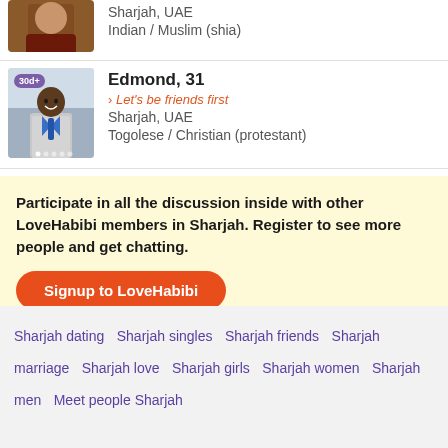[Figure (photo): Profile photo of a person in dark red clothing, partially visible at top]
Sharjah, UAE
Indian / Muslim (shia)
[Figure (photo): Profile photo of Edmond, a smiling man in a grey suit with blue tie, badge showing 30d+]
Edmond, 31
› Let's be friends first
Sharjah, UAE
Togolese / Christian (protestant)
Participate in all the discussion inside with other LoveHabibi members in Sharjah. Register to see more people and get chatting.
Signup to LoveHabibi
Sharjah dating  Sharjah singles  Sharjah friends  Sharjah marriage  Sharjah love  Sharjah girls  Sharjah women  Sharjah men  Meet people Sharjah